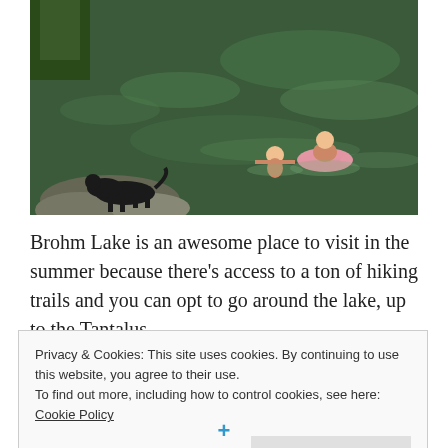[Figure (photo): People swimming in a green lake with a black dog on the rocks at the edge. One person uses a pink inflatable ring. Trees visible in background.]
Brohm Lake is an awesome place to visit in the summer because there's access to a ton of hiking trails and you can opt to go around the lake, up to the Tantalus
Privacy & Cookies: This site uses cookies. By continuing to use this website, you agree to their use.
To find out more, including how to control cookies, see here: Cookie Policy
Close and accept